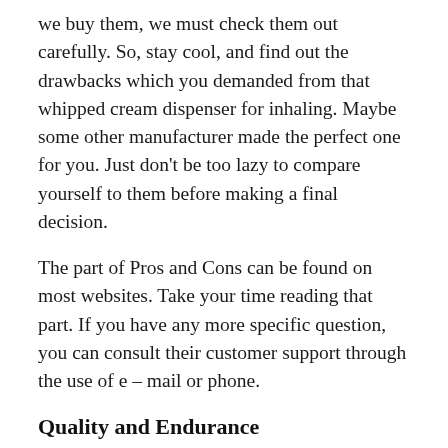we buy them, we must check them out carefully. So, stay cool, and find out the drawbacks which you demanded from that whipped cream dispenser for inhaling. Maybe some other manufacturer made the perfect one for you. Just don't be too lazy to compare yourself to them before making a final decision.
The part of Pros and Cons can be found on most websites. Take your time reading that part. If you have any more specific question, you can consult their customer support through the use of e – mail or phone.
Quality and Endurance
Color, Style, Performance, Materials, and, most importantly, Durability are all components of